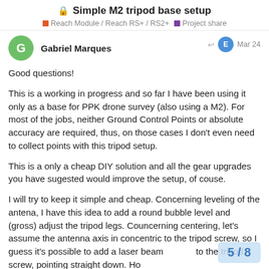Simple M2 tripod base setup
Reach Module / Reach RS+ / RS2+   Project share
Gabriel Marques   Mar 24
Good questions!
This is a working in progress and so far I have been using it only as a base for PPK drone survey (also using a M2). For most of the jobs, neither Ground Control Points or absolute accuracy are required, thus, on those cases I don't even need to collect points with this tripod setup.
This is a only a cheap DIY solution and all the gear upgrades you have sugested would improve the setup, of couse.
I will try to keep it simple and cheap. Concerning leveling of the antena, I have this idea to add a round bubble level and (gross) adjust the tripod legs. Councerning centering, let's assume the antenna axis in concentric to the tripod screw, so I guess it's possible to add a laser beam to the tripod screw, pointing straight down. Ho the height above ground is still a problem
5 / 8